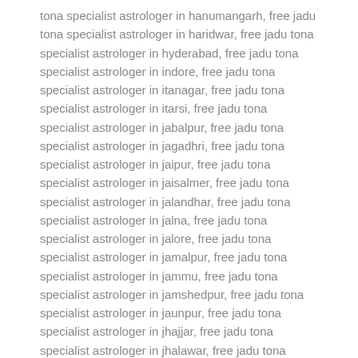tona specialist astrologer in hanumangarh, free jadu tona specialist astrologer in haridwar, free jadu tona specialist astrologer in hyderabad, free jadu tona specialist astrologer in indore, free jadu tona specialist astrologer in itanagar, free jadu tona specialist astrologer in itarsi, free jadu tona specialist astrologer in jabalpur, free jadu tona specialist astrologer in jagadhri, free jadu tona specialist astrologer in jaipur, free jadu tona specialist astrologer in jaisalmer, free jadu tona specialist astrologer in jalandhar, free jadu tona specialist astrologer in jalna, free jadu tona specialist astrologer in jalore, free jadu tona specialist astrologer in jamalpur, free jadu tona specialist astrologer in jammu, free jadu tona specialist astrologer in jamshedpur, free jadu tona specialist astrologer in jaunpur, free jadu tona specialist astrologer in jhajjar, free jadu tona specialist astrologer in jhalawar, free jadu tona specialist astrologer in jhansi, free jadu tona specialist astrologer in jodhpur, free jadu tona specialist astrologer in junagadh, free jadu tona specialist astrologer in kanchipuram, free jadu tona specialist astrologer in kangra, free jadu tona specialist astrologer in